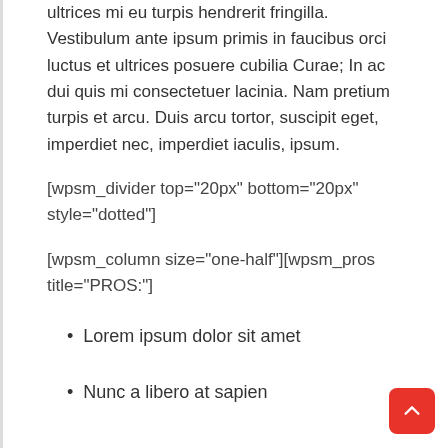ultrices mi eu turpis hendrerit fringilla. Vestibulum ante ipsum primis in faucibus orci luctus et ultrices posuere cubilia Curae; In ac dui quis mi consectetuer lacinia. Nam pretium turpis et arcu. Duis arcu tortor, suscipit eget, imperdiet nec, imperdiet iaculis, ipsum.
[wpsm_divider top="20px" bottom="20px" style="dotted"]
[wpsm_column size="one-half"][wpsm_pros title="PROS:"]
Lorem ipsum dolor sit amet
Nunc a libero at sapien